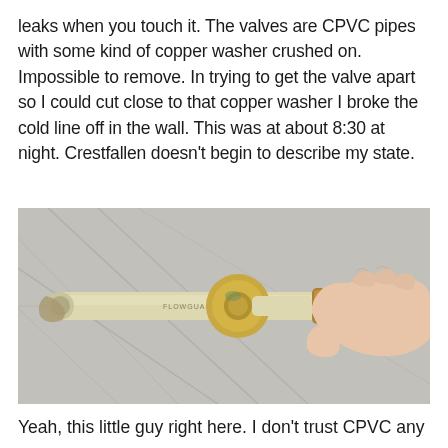leaks when you touch it.  The valves are CPVC pipes with some kind of copper washer crushed on.  Impossible to remove.  In trying to get the valve apart so I could cut close to that copper washer I broke the cold line off in the wall.  This was at about 8:30 at night.  Crestfallen doesn't begin to describe my state.
[Figure (photo): A broken CPVC pipe valve assembly being held in a person's hand, showing a yellowish plastic pipe with a copper/brass washer flange and a small brass valve fitting at the end, placed against a grey tiled background.]
Yeah, this little guy right here.  I don't trust CPVC any